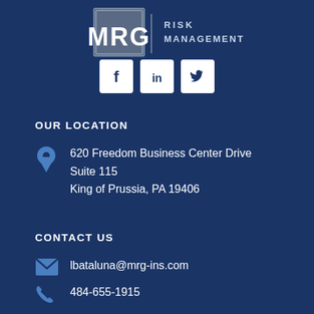[Figure (logo): MRG Risk Management logo with MRG initials in a square and 'RISK MANAGEMENT' text to the right]
[Figure (illustration): Social media icons: Facebook, LinkedIn, Twitter in white square rounded boxes on dark blue background]
OUR LOCATION
620 Freedom Business Center Drive
Suite 115
King of Prussia, PA 19406
CONTACT US
lbataluna@mrg-ins.com
484-655-1915